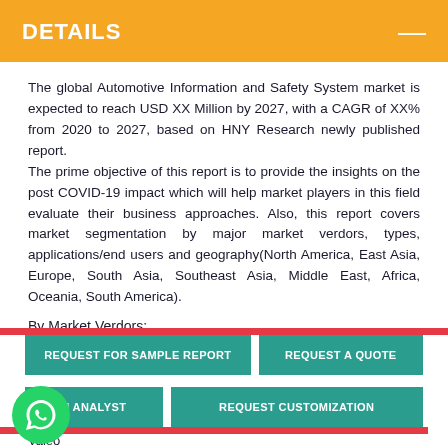DETAILS
The global Automotive Information and Safety System market is expected to reach USD XX Million by 2027, with a CAGR of XX% from 2020 to 2027, based on HNY Research newly published report. The prime objective of this report is to provide the insights on the post COVID-19 impact which will help market players in this field evaluate their business approaches. Also, this report covers market segmentation by major market verdors, types, applications/end users and geography(North America, East Asia, Europe, South Asia, Southeast Asia, Middle East, Africa, Oceania, South America).
By Market Verdors:
Bosch
[Figure (other): Three teal call-to-action buttons: REQUEST FOR SAMPLE REPORT, REQUEST A QUOTE, AN ANALYST, REQUEST CUSTOMIZATION. A WhatsApp icon circle at bottom left. Text 'Valeo' at bottom left.]